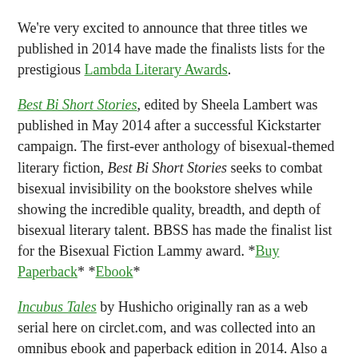We're very excited to announce that three titles we published in 2014 have made the finalists lists for the prestigious Lambda Literary Awards.
Best Bi Short Stories, edited by Sheela Lambert was published in May 2014 after a successful Kickstarter campaign. The first-ever anthology of bisexual-themed literary fiction, Best Bi Short Stories seeks to combat bisexual invisibility on the bookstore shelves while showing the incredible quality, breadth, and depth of bisexual literary talent. BBSS has made the finalist list for the Bisexual Fiction Lammy award. *Buy Paperback* *Ebook*
Incubus Tales by Hushicho originally ran as a web serial here on circlet.com, and was collected into an omnibus ebook and paperback edition in 2014. Also a finalist for the Rainbow Award this past year, Incubus Tales features the same protagonist as the Incubus Tales webcomic, the sweet and sexy